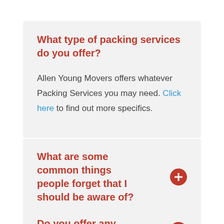What type of packing services do you offer?
Allen Young Movers offers whatever Packing Services you may need. Click here to find out more specifics.
What are some common things people forget that I should be aware of?
Do you offer any logistics